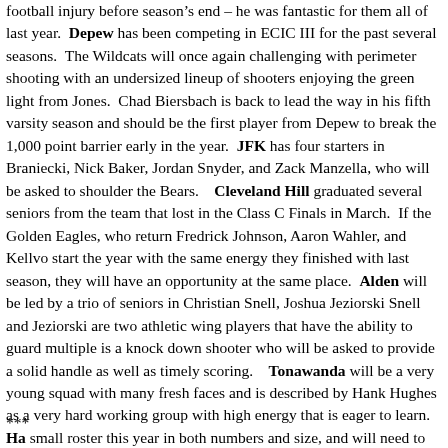football injury before season's end – he was fantastic for them all of last year.  Depew has been competing in ECIC III for the past several seasons.  The Wildcats will once again challenge with perimeter shooting with an undersized lineup of shooters enjoying the green light from Jones.  Chad Biersbach is back to lead the way in his fifth varsity season and should be the first player from Depew to break the 1,000 point barrier early in the year.  JFK has four starters in Braniecki, Nick Baker, Jordan Snyder, and Zack Manzella, who will be asked to shoulder the Bears.    Cleveland Hill graduated several seniors from the team that lost in the Class C Finals in March.  If the Golden Eagles, who return Fredrick Johnson, Aaron Wahler, and Kellvo start the year with the same energy they finished with last season, they will have an opportunity at the same place.  Alden will be led by a trio of seniors in Christian Snell, Joshua Jeziorski Snell and Jeziorski are two athletic wing players that have the ability to guard multiple is a knock down shooter who will be asked to provide a solid handle as well as timely scoring.   Tonawanda will be a very young squad with many fresh faces and is described by Hank Hughes as a very hard working group with high energy that is eager to learn.  Ha small roster this year in both numbers and size, and will need to rely on guard-oriented The team will be led by Jordan Kolbmann, but the entire roster is ready to contribute a minutes.  At Eden, Paul O'Connor is the new head coach for both the varsity and JV te players on his varsity roster will be underclassmen.
***